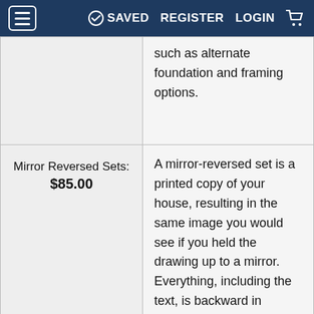≡  SAVED  REGISTER  LOGIN  🛒
| Option | Description |
| --- | --- |
|  | such as alternate foundation and framing options. |
| Mirror Reversed Sets: $85.00 | A mirror-reversed set is a printed copy of your house, resulting in the same image you would see if you held the drawing up to a mirror. Everything, including the text, is backward in relation to the original design. These kinds of drawing are typically used to reorient an original plan more... |